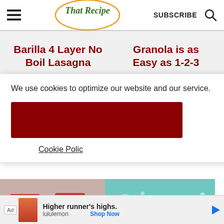That Recipe — SUBSCRIBE
Barilla 4 Layer No Boil Lasagna
Granola is as Easy as 1-2-3
We use cookies to optimize our website and our service.
Cookie Polic
[Figure (photo): People wearing aprons with 'goodish' branding, serving food; teal advertisement panel with food illustrations]
Ad   Higher runner's highs.   lululemon   Shop Now